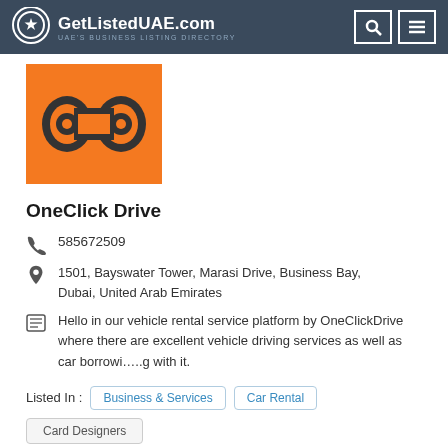GetListedUAE.com — UAE's BUSINESS LISTING DIRECTORY
[Figure (logo): OneClick Drive business logo — orange square background with a chain-link / infinity-style icon in dark gray and white]
OneClick Drive
585672509
1501, Bayswater Tower, Marasi Drive, Business Bay, Dubai, United Arab Emirates
Hello in our vehicle rental service platform by OneClickDrive where there are excellent vehicle driving services as well as car borrowi…..g with it.
Listed In :  Business & Services   Car Rental
Card Designers